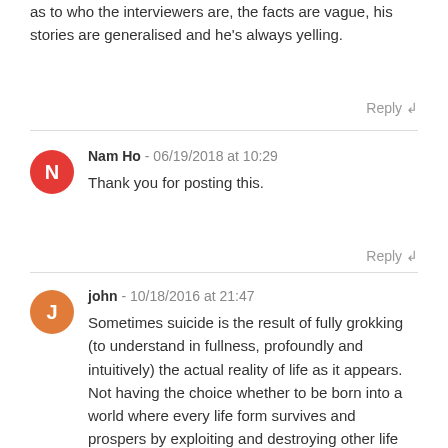as to who the interviewers are, the facts are vague, his stories are generalised and he's always yelling.
Reply ↲
Nam Ho - 06/19/2018 at 10:29
Thank you for posting this.
Reply ↲
john - 10/18/2016 at 21:47
Sometimes suicide is the result of fully grokking (to understand in fullness, profoundly and intuitively) the actual reality of life as it appears. Not having the choice whether to be born into a world where every life form survives and prospers by exploiting and destroying other life forms often in very horrific ways. That we ourselves have been the cause of uncountable death so we can